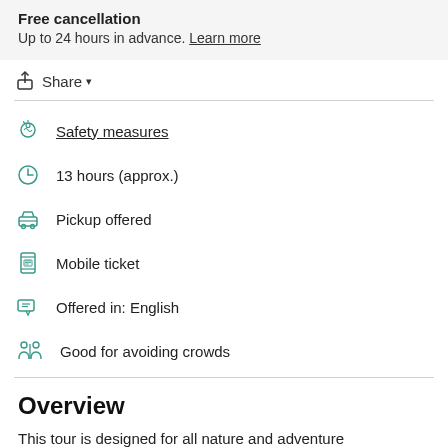Free cancellation
Up to 24 hours in advance. Learn more
Share
Safety measures
13 hours (approx.)
Pickup offered
Mobile ticket
Offered in: English
Good for avoiding crowds
Overview
This tour is designed for all nature and adventure